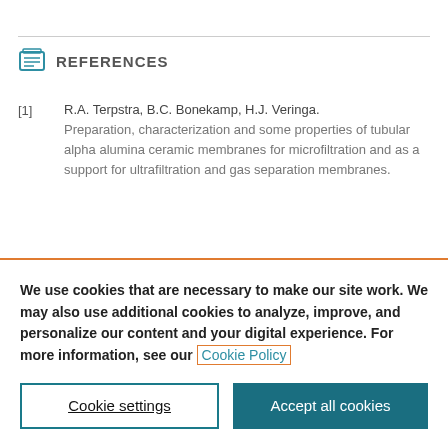REFERENCES
[1] R.A. Terpstra, B.C. Bonekamp, H.J. Veringa. Preparation, characterization and some properties of tubular alpha alumina ceramic membranes for microfiltration and as a support for ultrafiltration and gas separation membranes.
We use cookies that are necessary to make our site work. We may also use additional cookies to analyze, improve, and personalize our content and your digital experience. For more information, see our Cookie Policy
Cookie settings | Accept all cookies